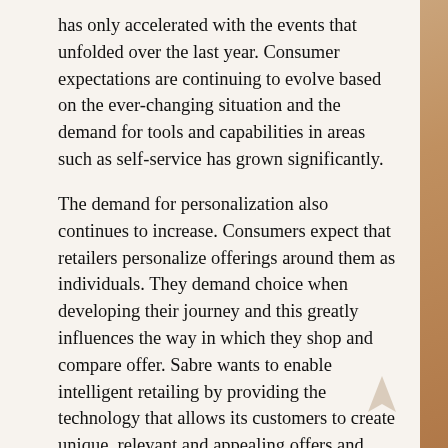has only accelerated with the events that unfolded over the last year. Consumer expectations are continuing to evolve based on the ever-changing situation and the demand for tools and capabilities in areas such as self-service has grown significantly.
The demand for personalization also continues to increase. Consumers expect that retailers personalize offerings around them as individuals. They demand choice when developing their journey and this greatly influences the way in which they shop and compare offer. Sabre wants to enable intelligent retailing by providing the technology that allows its customers to create unique, relevant and appealing offers and distribute them through multiple channels.
Menke highlighted that whilst revenue generation and cost efficiency remain important to customers, they are also focused on the brand promise that they put out to customers and deliver to them, as they offer...